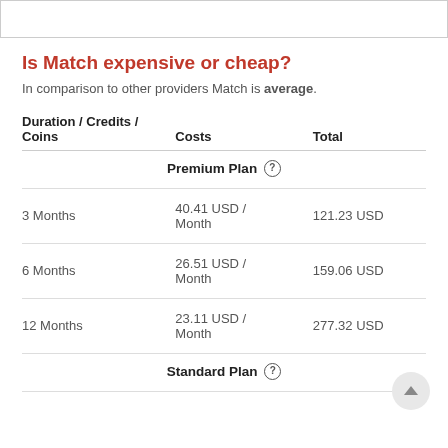Is Match expensive or cheap?
In comparison to other providers Match is average.
| Duration / Credits / Coins | Costs | Total |
| --- | --- | --- |
| Premium Plan (?) |  |  |
| 3 Months | 40.41 USD / Month | 121.23 USD |
| 6 Months | 26.51 USD / Month | 159.06 USD |
| 12 Months | 23.11 USD / Month | 277.32 USD |
| Standard Plan (?) |  |  |